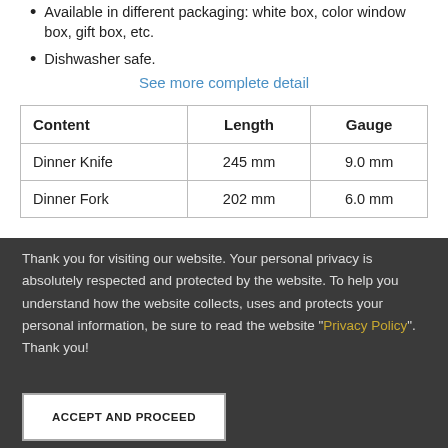Available in different packaging: white box, color window box, gift box, etc.
Dishwasher safe.
See more complete detail
| Content | Length | Gauge |
| --- | --- | --- |
| Dinner Knife | 245 mm | 9.0 mm |
| Dinner Fork | 202 mm | 6.0 mm |
Thank you for visiting our website. Your personal privacy is absolutely respected and protected by the website. To help you understand how the website collects, uses and protects your personal information, be sure to read the website "Privacy Policy". Thank you!
ACCEPT AND PROCEED